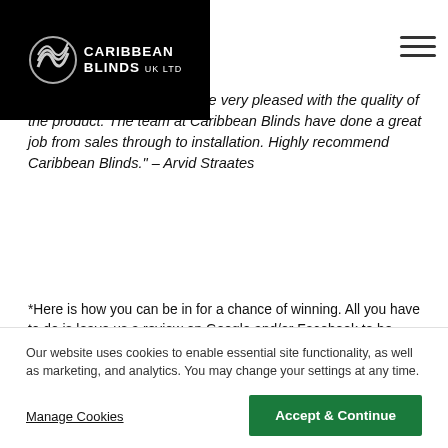[Figure (logo): Caribbean Blinds UK Ltd logo - white text on black background with circular striped icon]
...s for over a year now and are very pleased with the quality of the product. The team at Caribbean Blinds have done a great job from sales through to installation. Highly recommend Caribbean Blinds." – Arvid Straates
*Here is how you can be in for a chance of winning. All you have to do is leave us a review on Google and/or Facebook to be entered into our quarterly competition draw. Each review counts as a separate entry so you can double your chances of winning. Please note that you must provide your serial number in the review to validate each entry. A winner will be picked at random every quarter and the winner will be notified in the comments against their review and on our blog. The E-
Our website uses cookies to enable essential site functionality, as well as marketing, and analytics. You may change your settings at any time.
Manage Cookies
Accept & Continue